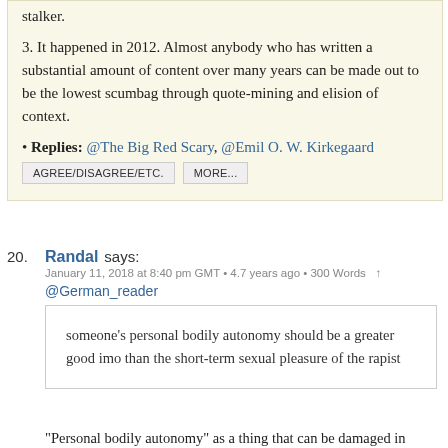stalker.
3. It happened in 2012. Almost anybody who has written a substantial amount of content over many years can be made out to be the lowest scumbag through quote-mining and elision of context.
• Replies: @The Big Red Scary, @Emil O. W. Kirkegaard
AGREE/DISAGREE/ETC.   MORE...
20. Randal says: January 11, 2018 at 8:40 pm GMT • 4.7 years ago • 300 Words
@German_reader
someone's personal bodily autonomy should be a greater good imo than the short-term sexual pleasure of the rapist
"Personal bodily autonomy" as a thing that can be damaged in